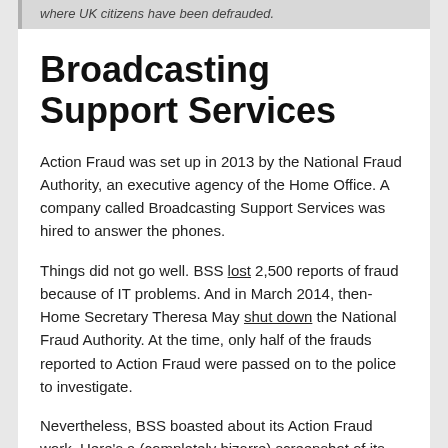where UK citizens have been defrauded.
Broadcasting Support Services
Action Fraud was set up in 2013 by the National Fraud Authority, an executive agency of the Home Office. A company called Broadcasting Support Services was hired to answer the phones.
Things did not go well. BSS lost 2,500 reports of fraud because of IT problems. And in March 2014, then-Home Secretary Theresa May shut down the National Fraud Authority. At the time, only half of the frauds reported to Action Fraud were passed on to the police to investigate.
Nevertheless, BSS boasted about its Action Fraud work. Here's a (completely bizarre) screenshot of its website archived on 16 July 2014:
BSS integrates contact centre and digital